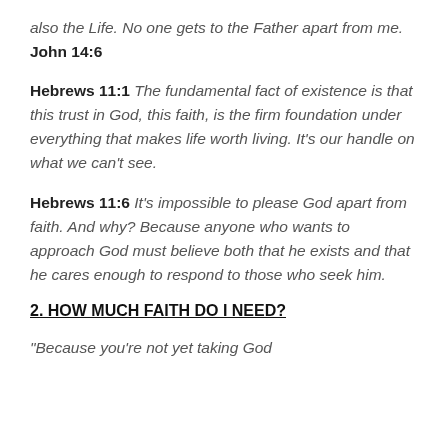also the Life. No one gets to the Father apart from me. John 14:6
Hebrews 11:1 The fundamental fact of existence is that this trust in God, this faith, is the firm foundation under everything that makes life worth living. It's our handle on what we can't see.
Hebrews 11:6 It's impossible to please God apart from faith. And why? Because anyone who wants to approach God must believe both that he exists and that he cares enough to respond to those who seek him.
2. HOW MUCH FAITH DO I NEED?
“Because you’re not yet taking God